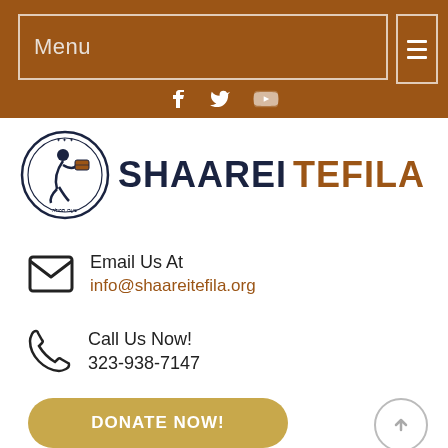Menu
[Figure (logo): Shaarei Tefila logo with circular emblem and organization name]
Email Us At
info@shaareitefila.org
Call Us Now!
323-938-7147
DONATE NOW!